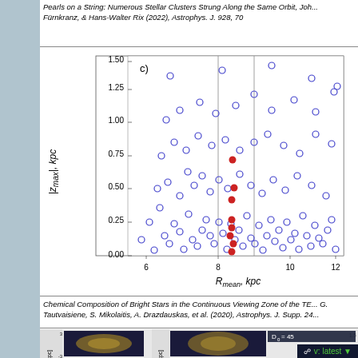Pearls on a String: Numerous Stellar Clusters Strung Along the Same Orbit, Johann Pfürnkranz, & Hans-Walter Rix (2022), Astrophys. J. 928, 70
[Figure (continuous-plot): Scatter plot labeled c) showing |z_max| (kpc) on y-axis (0.00 to 1.50) vs R_mean (kpc) on x-axis (6 to 12). Contains many open blue circles and a cluster of filled red points near R_mean=8.5, |z_max|=0.25-0.5. Two vertical reference lines near x=8 and x=9.]
Chemical Composition of Bright Stars in the Continuous Viewing Zone of the TESS satellite, G. Tautvaisiene, S. Mikolaitis, A. Drazdauskas, et al. (2020), Astrophys. J. Supp. 24...
[Figure (photo): Panel showing simulation images of stellar structures. Top left: galaxy simulation in x-y plane showing dark filaments against yellow-orange glow. Top right: D_0=45 simulation in z plane showing dark branching structure. Bottom row: additional panels including D_0=50. Version badge overlay reading 'v: latest'.]